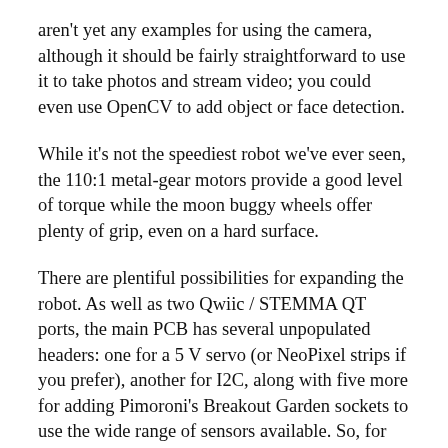aren't yet any examples for using the camera, although it should be fairly straightforward to use it to take photos and stream video; you could even use OpenCV to add object or face detection.
While it's not the speediest robot we've ever seen, the 110:1 metal-gear motors provide a good level of torque while the moon buggy wheels offer plenty of grip, even on a hard surface.
There are plentiful possibilities for expanding the robot. As well as two Qwiic / STEMMA QT ports, the main PCB has several unpopulated headers: one for a 5 V servo (or NeoPixel strips if you prefer), another for I2C, along with five more for adding Pimoroni's Breakout Garden sockets to use the wide range of sensors available. So, for instance, you could add a motion sensor or mini LCD.